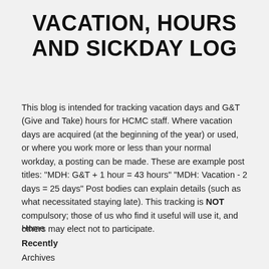VACATION, HOURS AND SICKDAY LOG
This blog is intended for tracking vacation days and G&T (Give and Take) hours for HCMC staff. Where vacation days are acquired (at the beginning of the year) or used, or where you work more or less than your normal workday, a posting can be made. These are example post titles: "MDH: G&T + 1 hour = 43 hours" "MDH: Vacation - 2 days = 25 days" Post bodies can explain details (such as what necessitated staying late). This tracking is NOT compulsory; those of us who find it useful will use it, and others may elect not to participate.
Home
Recently
Archives